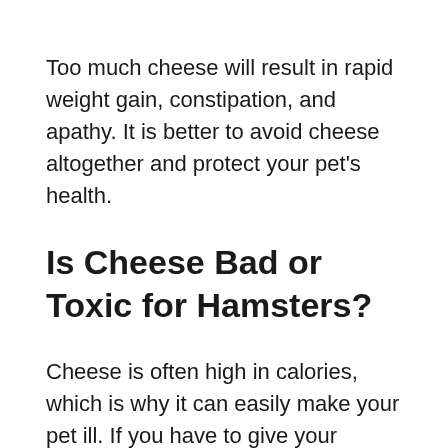Too much cheese will result in rapid weight gain, constipation, and apathy. It is better to avoid cheese altogether and protect your pet's health.
Is Cheese Bad or Toxic for Hamsters?
Cheese is often high in calories, which is why it can easily make your pet ill. If you have to give your hamster cheese, opt for one that is low in fat. Avoid the kind with a